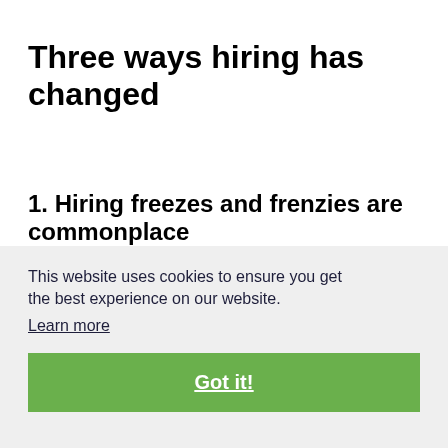Three ways hiring has changed
1. Hiring freezes and frenzies are commonplace
When the virus first hit, entire industries like entertainment and travel ground to a halt, while others saw demand for talent skyrocket. Amazon, for example, needed to hire 10,000 more workers to keep up with the sudden demand generated by COVID-19.
This website uses cookies to ensure you get the best experience on our website.
Learn more
Got it!